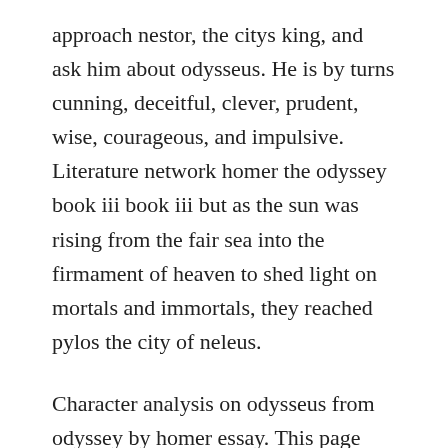approach nestor, the citys king, and ask him about odysseus. He is by turns cunning, deceitful, clever, prudent, wise, courageous, and impulsive. Literature network homer the odyssey book iii book iii but as the sun was rising from the fair sea into the firmament of heaven to shed light on mortals and immortals, they reached pylos the city of neleus.
Character analysis on odysseus from odyssey by homer essay. This page will chronologically list epithets in homers the